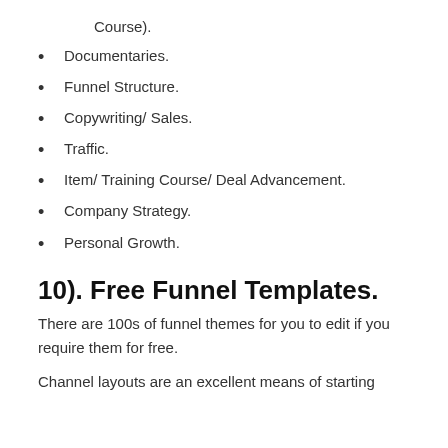Course).
Documentaries.
Funnel Structure.
Copywriting/ Sales.
Traffic.
Item/ Training Course/ Deal Advancement.
Company Strategy.
Personal Growth.
10). Free Funnel Templates.
There are 100s of funnel themes for you to edit if you require them for free.
Channel layouts are an excellent means of starting